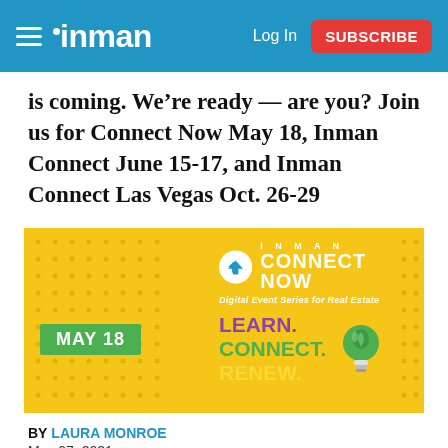inman — Log In | SUBSCRIBE
is coming. We're ready — are you? Join us for Connect Now May 18, Inman Connect June 15-17, and Inman Connect Las Vegas Oct. 26-29
[Figure (illustration): Inman Connect Now promotional banner on yellow background. Shows logo, 'MAY 18' green badge, 'LEARN. CONNECT. RENEW.' text in purple, green, and yellow, with a green lightbulb icon. Subtitle: Digital Event Series for Real Estate.]
BY LAURA MONROE
May 07, 2021